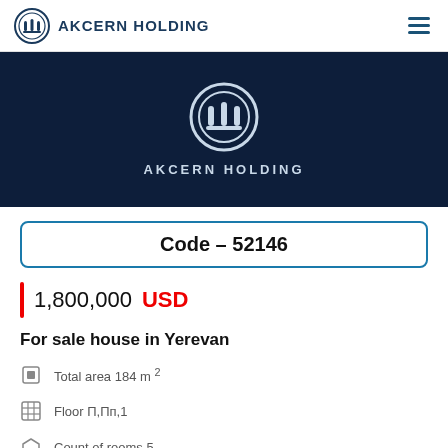AKCERN HOLDING
[Figure (logo): Akcern Holding logo and company name on dark navy banner background]
Code - 52146
1,800,000 USD
For sale house in Yerevan
Total area 184 m 2
Floor П,Пп,1
Count of rooms 5